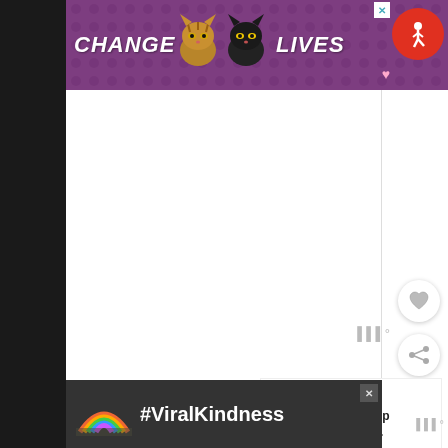[Figure (screenshot): Screenshot of a recipe website with a purple cat charity advertisement at top reading CHANGE LIVES, a large white content area, what's next panel showing Vegan Soup and Stew, ingredients section title, a bullet point for 1 Tbsp tamarind paste*, and a bottom ad banner with #ViralKindness rainbow graphic. UI elements include heart and share buttons on the right side.]
Ingredients
1 Tbsp tamarind paste*
WHAT'S NEXT → Vegan Soup and Stew...
#ViralKindness